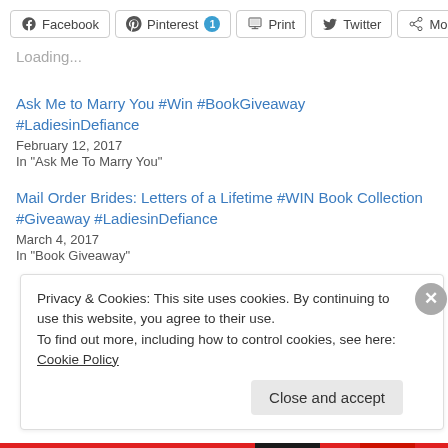[Figure (screenshot): Social share buttons: Facebook, Pinterest (with badge 1), Print, Twitter, More]
Loading...
Ask Me to Marry You #Win #BookGiveaway #LadiesinDefiance
February 12, 2017
In "Ask Me To Marry You"
Mail Order Brides: Letters of a Lifetime #WIN Book Collection #Giveaway #LadiesinDefiance
March 4, 2017
In "Book Giveaway"
Privacy & Cookies: This site uses cookies. By continuing to use this website, you agree to their use.
To find out more, including how to control cookies, see here: Cookie Policy
Close and accept